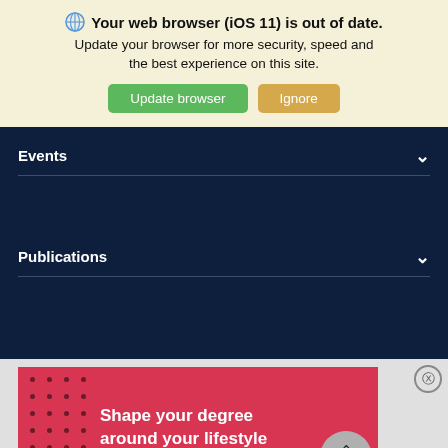🌐 Your web browser (iOS 11) is out of date. Update your browser for more security, speed and the best experience on this site. [Update browser] [Ignore]
Events
Publications
[Figure (illustration): Red advertisement banner with dot grid pattern on left and white bold text reading 'Shape your degree around your lifestyle']